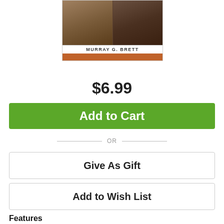[Figure (illustration): Book cover image showing classical figures, with author name MURRAY G. BRETT in a white bar and an orange/brown bar below]
$6.99
Add to Cart
OR
Give As Gift
Add to Wish List
Features
Tap on a feature to learn more.